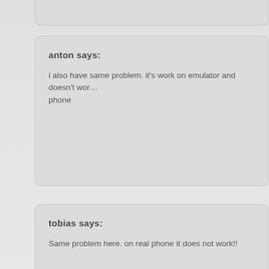anton says:
i also have same problem. it's work on emulator and doesn't work on phone
tobias says:
Same problem here. on real phone it does not work!!